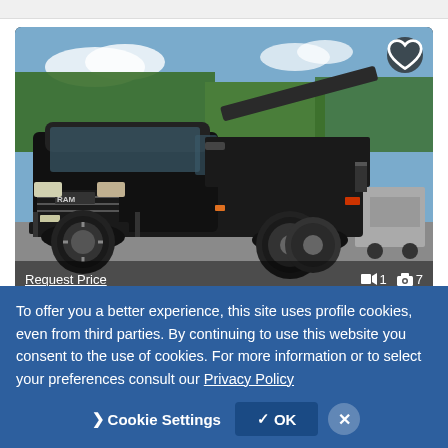[Figure (photo): 2021 Dodge RAM 4500 Wrecker Tow Truck — black heavy-duty tow truck photographed in a parking lot with trees in background. A heart/favorite button is in the top-right corner. Bottom overlay shows 'Request Price' link on left and '1 video / 7 photos' counts on right.]
No Price Listed
2021 DODGE RAM 4500 Wrecker Tow Truck
To offer you a better experience, this site uses profile cookies, even from third parties. By continuing to use this website you consent to the use of cookies. For more information or to select your preferences consult our Privacy Policy